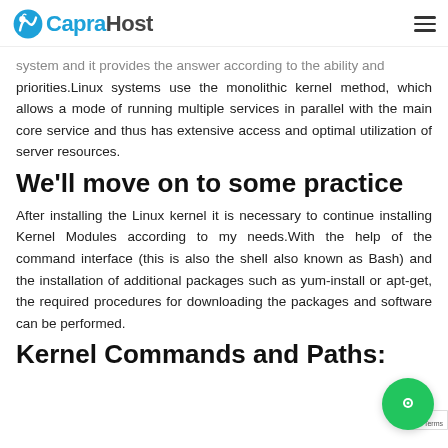CapraHost
system and it provides the answer according to the ability and priorities.Linux systems use the monolithic kernel method, which allows a mode of running multiple services in parallel with the main core service and thus has extensive access and optimal utilization of server resources.
We'll move on to some practice
After installing the Linux kernel it is necessary to continue installing Kernel Modules according to my needs.With the help of the command interface (this is also the shell also known as Bash) and the installation of additional packages such as yum-install or apt-get, the required procedures for downloading the packages and software can be performed.
Kernel Commands and Paths: